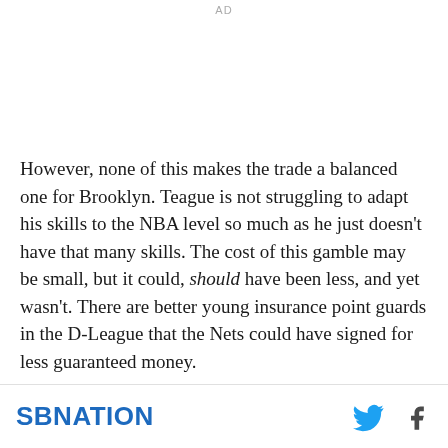AD
However, none of this makes the trade a balanced one for Brooklyn. Teague is not struggling to adapt his skills to the NBA level so much as he just doesn't have that many skills. The cost of this gamble may be small, but it could, should have been less, and yet wasn't. There are better young insurance point guards in the D-League that the Nets could have signed for less guaranteed money.
SBNATION